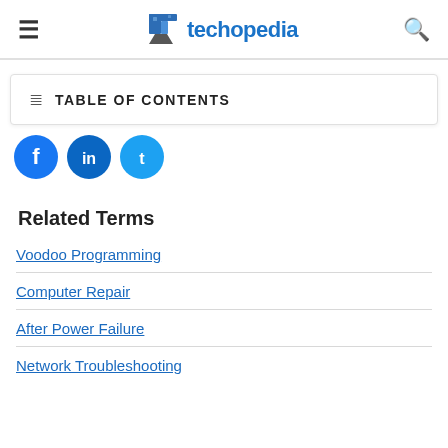techopedia
TABLE OF CONTENTS
[Figure (other): Social sharing buttons: Facebook, LinkedIn, Twitter]
Related Terms
Voodoo Programming
Computer Repair
After Power Failure
Network Troubleshooting